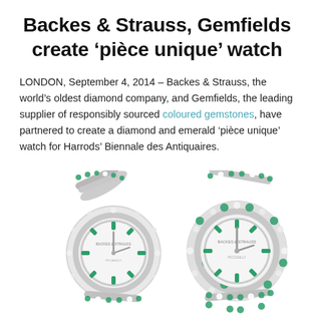Backes & Strauss, Gemfields create 'pièce unique' watch
LONDON, September 4, 2014 – Backes & Strauss, the world's oldest diamond company, and Gemfields, the leading supplier of responsibly sourced coloured gemstones, have partnered to create a diamond and emerald 'pièce unique' watch for Harrods' Biennale des Antiquaires.
[Figure (photo): Two luxury diamond and emerald watches by Backes & Strauss and Gemfields, shown side by side. Both watches have white/silver dials with emerald hour markers, diamond-encrusted cases and bracelets with alternating emerald and diamond stones.]